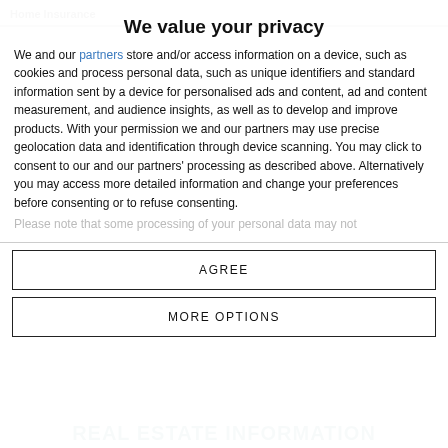Home Insurance
We value your privacy
We and our partners store and/or access information on a device, such as cookies and process personal data, such as unique identifiers and standard information sent by a device for personalised ads and content, ad and content measurement, and audience insights, as well as to develop and improve products. With your permission we and our partners may use precise geolocation data and identification through device scanning. You may click to consent to our and our partners' processing as described above. Alternatively you may access more detailed information and change your preferences before consenting or to refuse consenting.
Please note that some processing of your personal data may not
AGREE
MORE OPTIONS
REAL ESTATE INFORMATION